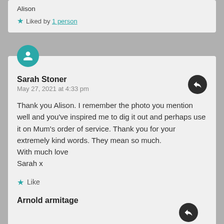Alison
★ Liked by 1 person
Sarah Stoner
May 27, 2021 at 4:33 pm
Thank you Alison. I remember the photo you mention well and you've inspired me to dig it out and perhaps use it on Mum's order of service. Thank you for your extremely kind words. They mean so much.
With much love
Sarah x
★ Like
Arnold armitage